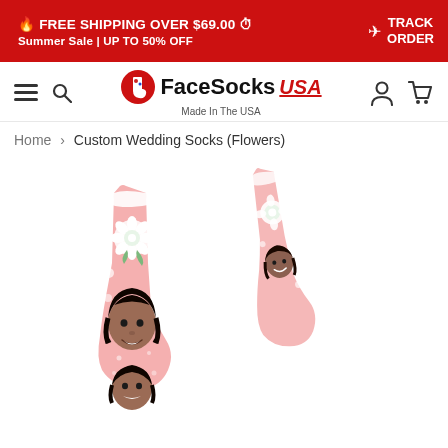🔥 FREE SHIPPING OVER $69.00 ⏱  Summer Sale | UP TO 50% OFF   ✈ TRACK ORDER
[Figure (logo): FaceSocks USA logo with sock icon and text 'Made In The USA']
Home › Custom Wedding Socks (Flowers)
[Figure (photo): Pink custom wedding socks with a woman's face repeated on them and white flower decorations]